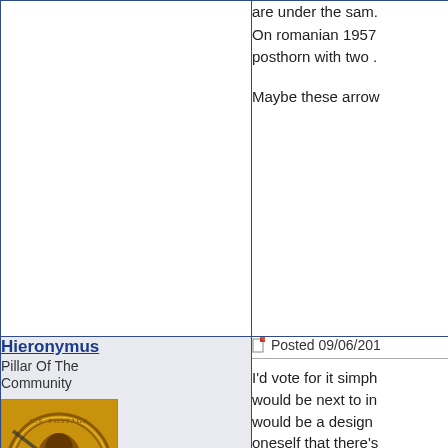are under the sam. On romanian 1957 posthorn with two .
Maybe these arrow
Hieronymus
Pillar Of The Community
United States
526 Posts
[Figure (photo): Avatar image of a vintage postage stamp with a portrait in orange/gold color]
Posted 09/06/201
I'd vote for it simph would be next to in would be a design oneself that there's Deco was all abou "modern" (whateve older, traditional st heistorian-expert c this and that other style makes, imho. compelling, rather